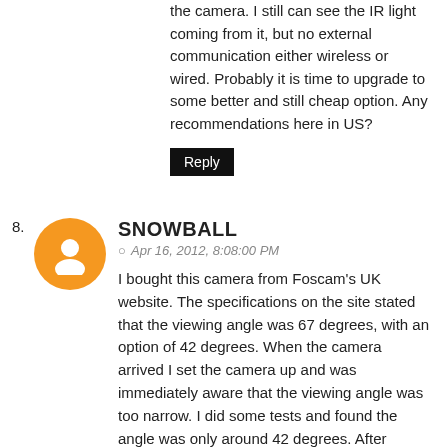the camera. I still can see the IR light coming from it, but no external communication either wireless or wired. Probably it is time to upgrade to some better and still cheap option. Any recommendations here in US?
Reply
SNOWBALL
Apr 16, 2012, 8:08:00 PM
I bought this camera from Foscam's UK website. The specifications on the site stated that the viewing angle was 67 degrees, with an option of 42 degrees. When the camera arrived I set the camera up and was immediately aware that the viewing angle was too narrow. I did some tests and found the angle was only around 42 degrees. After emailing Foscam customer service, they forwarded my emails to Foscam Tech Support. Tech Support confirmed that the camera was only able to give a maximum of 45 degrees, and that the UK website was showing the wrong specifications and up to me writing this review, still was. I contacted Foscam sales, telling them of Tech Supports findings and asked for a refund, they ignored me. I took my problem to PayPal, whom I paid for the camera through. We went through the resolution process and PayPal awarded in my favour